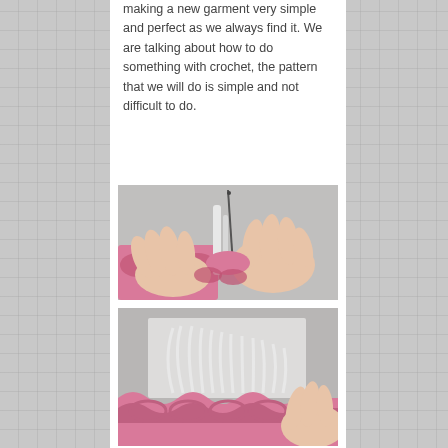making a new garment very simple and perfect as we always find it. We are talking about how to do something with crochet, the pattern that we will do is simple and not difficult to do.
[Figure (photo): Hands holding pink crocheted fabric while inserting a crochet hook with white yarn into the stitches.]
[Figure (photo): Close-up of pink and white crocheted pattern showing completed fan or shell stitches along a wavy pink border, with a hand visible at the right edge.]